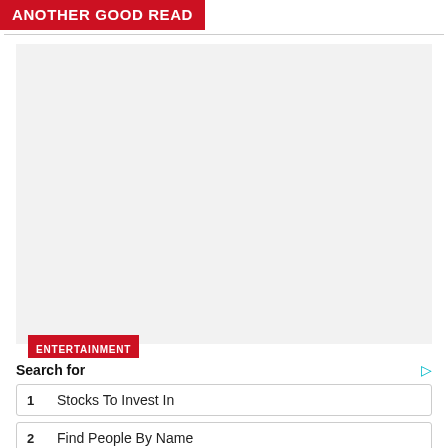ANOTHER GOOD READ
[Figure (other): Gray placeholder image area]
ENTERTAINMENT
Search for
1   Stocks To Invest In
2   Find People By Name
Yahoo! Search | Sponsored